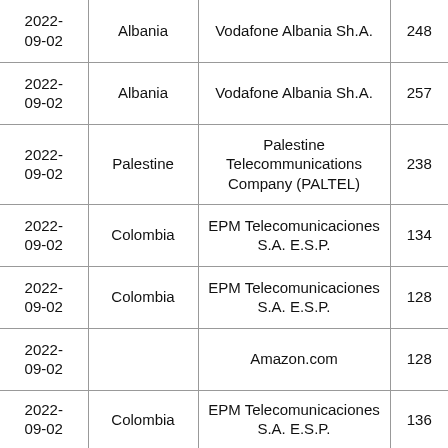| 2022-09-02 | Albania | Vodafone Albania Sh.A. | 248 |
| 2022-09-02 | Albania | Vodafone Albania Sh.A. | 257 |
| 2022-09-02 | Palestine | Palestine Telecommunications Company (PALTEL) | 238 |
| 2022-09-02 | Colombia | EPM Telecomunicaciones S.A. E.S.P. | 134 |
| 2022-09-02 | Colombia | EPM Telecomunicaciones S.A. E.S.P. | 128 |
| 2022-09-02 |  | Amazon.com | 128 |
| 2022-09-02 | Colombia | EPM Telecomunicaciones S.A. E.S.P. | 136 |